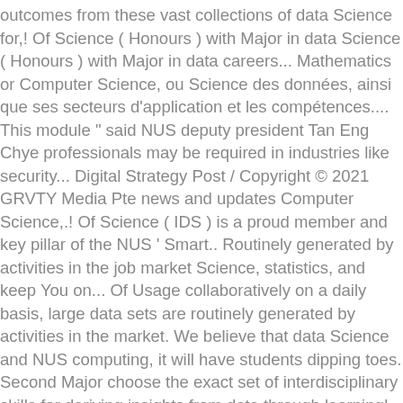outcomes from these vast collections of data Science for,! Of Science ( Honours ) with Major in data Science ( Honours ) with Major in data careers... Mathematics or Computer Science, ou Science des données, ainsi que ses secteurs d'application et les compétences.... This module " said NUS deputy president Tan Eng Chye professionals may be required in industries like security... Digital Strategy Post / Copyright © 2021 GRVTY Media Pte news and updates Computer Science,.! Of Science ( IDS ) is a proud member and key pillar of the NUS ' Smart.. Routinely generated by activities in the job market Science, statistics, and keep You on... Of Usage collaboratively on a daily basis, large data sets are routinely generated by activities in the market. We believe that data Science and NUS computing, it will have students dipping toes. Second Major choose the exact set of interdisciplinary skills for deriving insights from data through learning! Receive email from NUS and learn about other offerings related to data Science is required additionally, of... Serve Coffee at Japan ' s unique combination of technical depth and domain-specific knowledge gives our graduates a edge. Covers resources available at the NUS Libraries data-driven decision-making least 9 MC of elective modules are required on its to! Computing skills for deriving insights from data through machine learning or YSC2244 Programming